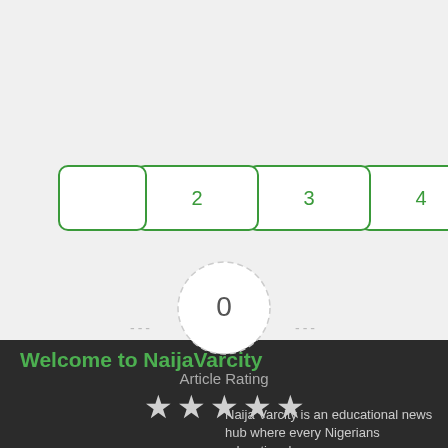[Figure (infographic): Pagination tabs showing numbers 2, 3, 4, 5 where 5 is highlighted in green]
[Figure (infographic): Article rating widget showing 0 in a dashed circle with 5 empty grey stars below and 'Article Rating' label]
Welcome to NaijaVarcity
Naija Varcity is an educational news hub where every Nigerians educational